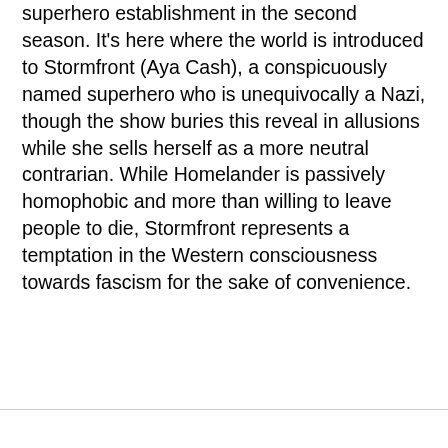superhero establishment in the second season. It's here where the world is introduced to Stormfront (Aya Cash), a conspicuously named superhero who is unequivocally a Nazi, though the show buries this reveal in allusions while she sells herself as a more neutral contrarian. While Homelander is passively homophobic and more than willing to leave people to die, Stormfront represents a temptation in the Western consciousness towards fascism for the sake of convenience.